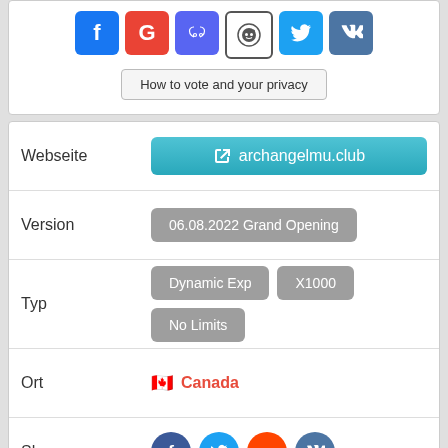[Figure (infographic): Social login icons row: Facebook (blue), Google (red), Discord (purple), Reddit (black/white), Twitter (blue), VK (blue)]
How to vote and your privacy
| Label | Value |
| --- | --- |
| Webseite | archangelmu.club |
| Version | 06.08.2022 Grand Opening |
| Typ | Dynamic Exp  X1000  No Limits |
| Ort | Canada |
| Share | (social icons) |
| Rang | 28 |
| Ergebnis | 400 |
| Letztes Update | 25 Jul 2022 |